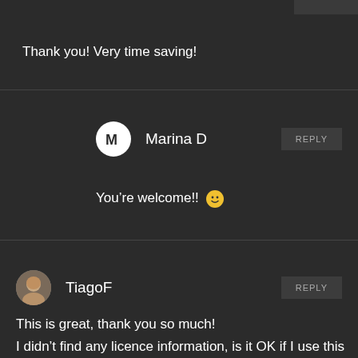Thank you! Very time saving!
Marina D
You're welcome!! 🙂
TiagoF
This is great, thank you so much!
I didn't find any licence information, is it OK if I use this